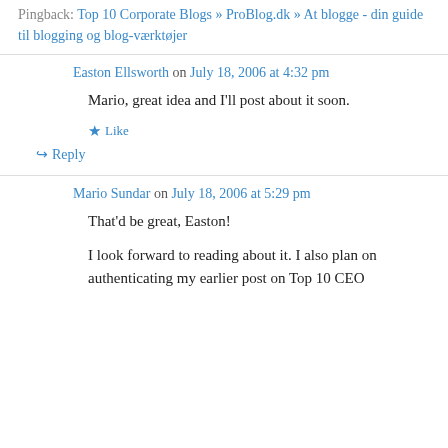Pingback: Top 10 Corporate Blogs » ProBlog.dk » At blogge - din guide til blogging og blog-værktøjer
Easton Ellsworth on July 18, 2006 at 4:32 pm
Mario, great idea and I'll post about it soon.
★ Like
↪ Reply
Mario Sundar on July 18, 2006 at 5:29 pm
That'd be great, Easton!
I look forward to reading about it. I also plan on authenticating my earlier post on Top 10 CEO…